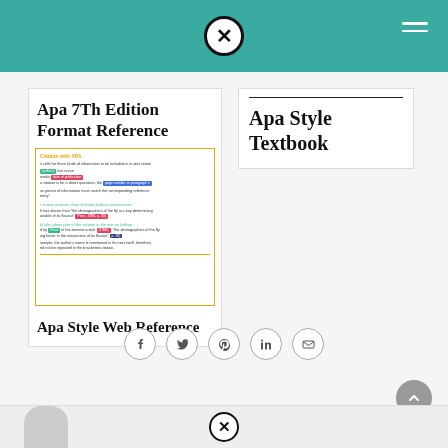Website header with teal background, X icon and hamburger menu
Apa 7Th Edition Format Reference
[Figure (screenshot): Mini screenshot of an APA citation guide document showing highlighted text chips for author, date, and page number fields with example in-text citations]
Apa Style Web Reference
Apa Style Textbook
[Figure (infographic): Social media share icons row: Facebook, Twitter, Pinterest, LinkedIn, Email]
[Figure (other): Scroll-to-top circular button with upward chevron]
Bottom strip with X icon and avatar placeholder